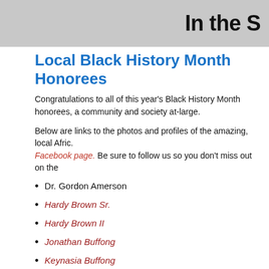In the S
Local Black History Month Honorees
Congratulations to all of this year's Black History Month honorees, a community and society at-large.
Below are links to the photos and profiles of the amazing, local Afric... Facebook page. Be sure to follow us so you don't miss out on the
Dr. Gordon Amerson
Hardy Brown Sr.
Hardy Brown II
Jonathan Buffong
Keynasia Buffong
Kimberly Calvin
Kim Carter
Wilmer Amina Carter
Pastor Samuel Casey
Layshia Clarendon